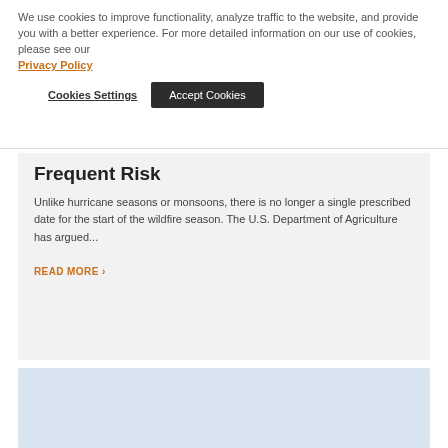We use cookies to improve functionality, analyze traffic to the website, and provide you with a better experience. For more detailed information on our use of cookies, please see our Privacy Policy
Cookies Settings | Accept Cookies
Frequent Risk
Unlike hurricane seasons or monsoons, there is no longer a single prescribed date for the start of the wildfire season. The U.S. Department of Agriculture has argued...
READ MORE ›
[Figure (photo): Partially visible image at the bottom of the page, light blue/gray tones, appears to be a sky or landscape photo.]